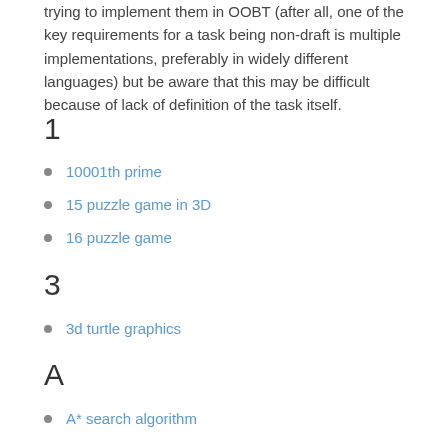trying to implement them in OOBT (after all, one of the key requirements for a task being non-draft is multiple implementations, preferably in widely different languages) but be aware that this may be difficult because of lack of definition of the task itself.
1
10001th prime
15 puzzle game in 3D
16 puzzle game
3
3d turtle graphics
A
A* search algorithm
ABC words
ADFGVX cipher
Addition-chain exponentiation
Addition chains
Alternade words